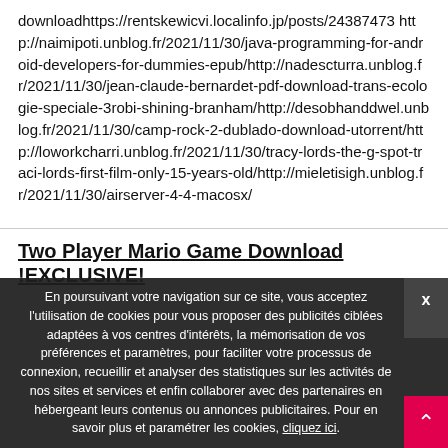downloadhttps://rentskewicvi.localinfo.jp/posts/24387473 http://naimipoti.unblog.fr/2021/11/30/java-programming-for-android-developers-for-dummies-epub/http://nadescturra.unblog.fr/2021/11/30/jean-claude-bernardet-pdf-download-trans-ecologie-speciale-3robi-shining-branham/http://desobhanddwel.unblog.fr/2021/11/30/camp-rock-2-dublado-download-utorrent/http://loworkcharri.unblog.fr/2021/11/30/tracy-lords-the-g-spot-traci-lords-first-film-only-15-years-old/http://mieletisigh.unblog.fr/2021/11/30/airserver-4-4-macosx/
Two Player Mario Game Download !EXCLUSIVE!
En poursuivant votre navigation sur ce site, vous acceptez l'utilisation de cookies pour vous proposer des publicités ciblées adaptées à vos centres d'intérêts, la mémorisation de vos préférences et paramètres, pour faciliter votre processus de connexion, recueillir et analyser des statistiques sur les activités de nos sites et services et enfin collaborer avec des partenaires en hébergeant leurs contenus ou annonces publicitaires. Pour en savoir plus et paramétrer les cookies, cliquez ici.